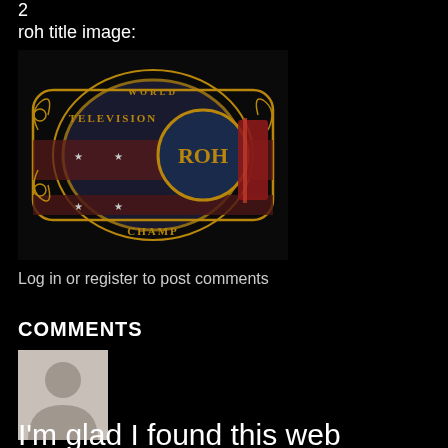2
roh title image:
[Figure (photo): ROH World Television Championship belt close-up, ornate gold and dark colored wrestling championship belt with 'ROH WORLD TELEVISION CHAMPION' text]
Log in or register to post comments
COMMENTS
[Figure (illustration): Generic gray user avatar/profile silhouette placeholder image]
I'm glad I found this web